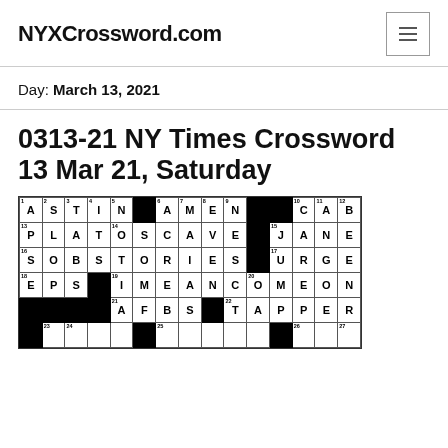NYXCrossword.com
Day: March 13, 2021
0313-21 NY Times Crossword 13 Mar 21, Saturday
[Figure (other): Partially visible NY Times crossword puzzle grid dated March 13, 2021 (0313-21), showing the top several rows with letters filled in.]